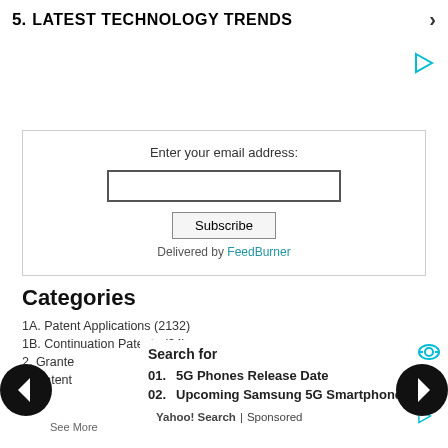5.  LATEST TECHNOLOGY TRENDS ›
Enter your email address:
Subscribe
Delivered by FeedBurner
Categories
1A. Patent Applications (2132)
1B. Continuation Patents (94)
2. Granted...
3. Patent...
Search for
01.  5G Phones Release Date ›
02.  Upcoming Samsung 5G Smartphone ›
Yahoo! Search | Sponsored